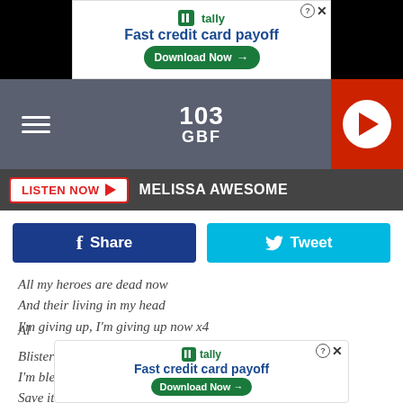[Figure (screenshot): Tally Fast credit card payoff advertisement banner at top]
[Figure (logo): 103 GBF radio station header with hamburger menu and play button]
LISTEN NOW  MELISSA AWESOME
[Figure (screenshot): Facebook Share and Twitter Tweet buttons]
All my heroes are dead now
And their living in my head
I'm giving up, I'm giving up now x4
Blistering cold sores, scratch my throat
I'm bleeding from my tongue
Save it for the encore
Yo
[Figure (screenshot): Tally Fast credit card payoff advertisement banner at bottom]
Al